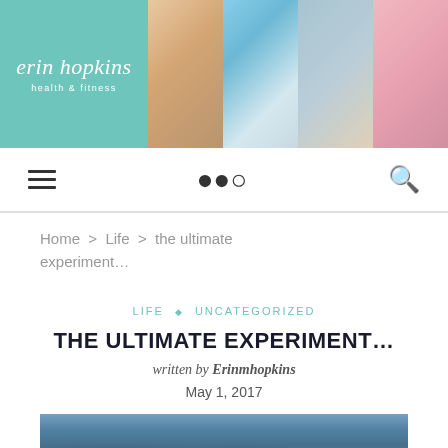[Figure (photo): Blog header banner with teal logo panel reading 'erin hopkins health & fitness' on the left, and four portrait/lifestyle photos on the right showing a woman in blue tank, yoga pose at beach, family group, and woman with pink balloons]
erin hopkins health & fitness
Home > Life > the ultimate experiment...
LIFE ◇ UNCATEGORIZED
THE ULTIMATE EXPERIMENT...
written by Erinmhopkins
May 1, 2017
[Figure (photo): Photo of a tropical resort pool area with lounge chairs, beach towels, and palm thatched umbrellas, people relaxing in background]